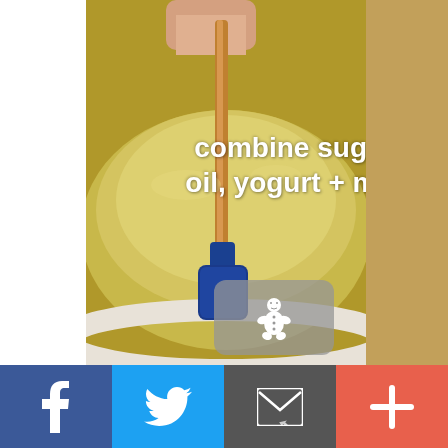[Figure (photo): A cooking photo showing a blue silicone spatula stirring a yellow liquid mixture (sugar, oil, yogurt and milk) in a white bowl, with a hand visible at the top holding the spatula. Text overlay reads 'combine sugar, oil, yogurt + milk'. A gingerbread man cookie icon appears in the lower right corner of the photo.]
combine sugar, oil, yogurt + milk
[Figure (infographic): Social media sharing bar at the bottom with four buttons: Facebook (blue, f icon), Twitter (light blue, bird icon), Email (dark grey, envelope icon), and Plus/More (coral/red, + icon)]